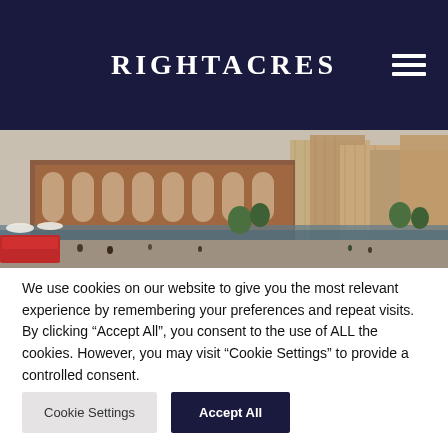RIGHTACRES
[Figure (illustration): Aerial view rendering of a mixed-use urban development with historic brick arcade building, modern glass buildings, a canal or water feature, trees, pedestrians and a red bus in the foreground.]
We use cookies on our website to give you the most relevant experience by remembering your preferences and repeat visits. By clicking “Accept All”, you consent to the use of ALL the cookies. However, you may visit "Cookie Settings" to provide a controlled consent.
Cookie Settings
Accept All